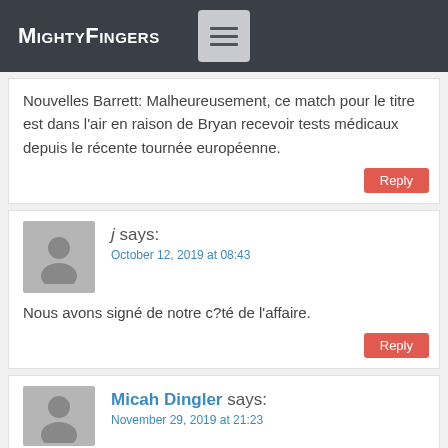MightyFingers
Nouvelles Barrett: Malheureusement, ce match pour le titre est dans l'air en raison de Bryan recevoir tests médicaux depuis le récente tournée européenne.
j says:
October 12, 2019 at 08:43
Nous avons signé de notre c?té de l'affaire.
Micah Dingler says:
November 29, 2019 at 21:23